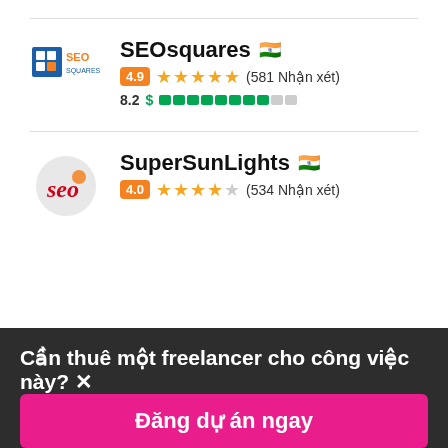[Figure (screenshot): SEOsquares listing with Indian flag, rating 4.9, 581 Nhận xét, score 8.2 with dollar progress bar]
[Figure (screenshot): SuperSunLights listing with Indian flag, partially visible rating row showing 4.0 and 534 Nhận xét]
Cần thuê một freelancer cho công việc này? ×
Đăng dự án ngay